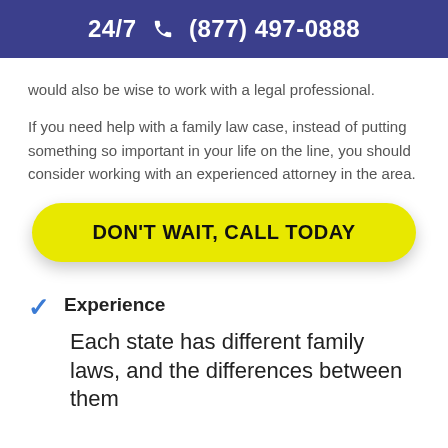24/7 (877) 497-0888
would also be wise to work with a legal professional.
If you need help with a family law case, instead of putting something so important in your life on the line, you should consider working with an experienced attorney in the area.
[Figure (other): Yellow call-to-action button with text DON'T WAIT, CALL TODAY]
Experience
Each state has different family laws, and the differences between them